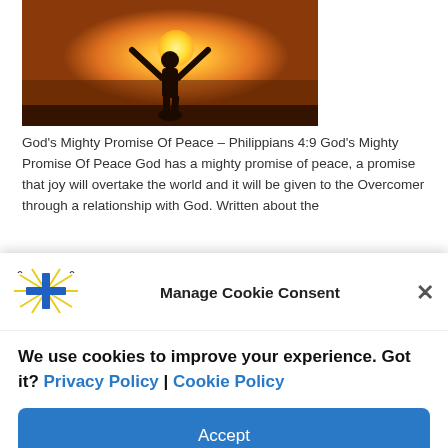[Figure (photo): Silhouette of a person with arms raised against a sunset background with orange and golden sky]
God's Mighty Promise Of Peace – Philippians 4:9 God's Mighty Promise Of Peace God has a mighty promise of peace, a promise that joy will overtake the world and it will be given to the Overcomer through a relationship with God. Written about the
[Figure (logo): Logo with a cross and radiating lines in blue and yellow]
Manage Cookie Consent
We use cookies to improve your experience. Got it? Privacy Policy | Cookie Policy
Accept
Cookie Policy